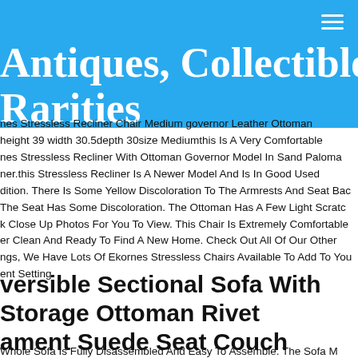Antiques, Collectibles, and Rarities
nes Stressless Recliner Chair Medium governor Leather Ottoman height 39 width 30.5 depth 30 size Medium this Is A Very Comfortable nes Stressless Recliner With Ottoman Governor Model In Sand Paloma ner. this Stressless Recliner Is A Newer Model And Is In Good Used dition. There Is Some Yellow Discoloration To The Armrests And Seat Bac The Seat Has Some Discoloration. The Ottoman Has A Few Light Scratc k Close Up Photos For You To View. This Chair Is Extremely Comfortable er Clean And Ready To Find A New Home. Check Out All Of Our Other ngs, We Have Lots Of Ekornes Stressless Chairs Available To Add To You ent Setting.
versible Sectional Sofa With Storage Ottoman Rivet ament Suede Seat Couch
Whole Sofa Is Fully Disassembled And Easy To Assemble. The Sofa M